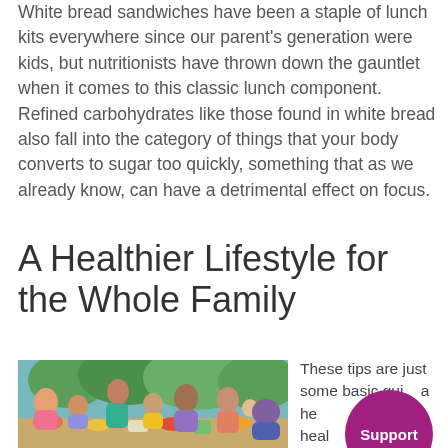White bread sandwiches have been a staple of lunch kits everywhere since our parent's generation were kids, but nutritionists have thrown down the gauntlet when it comes to this classic lunch component. Refined carbohydrates like those found in white bread also fall into the category of things that your body converts to sugar too quickly, something that as we already know, can have a detrimental effect on focus.
A Healthier Lifestyle for the Whole Family
[Figure (photo): A large family group of adults and children sitting around an outdoor table sharing a meal together, with green trees and fence in the background.]
These tips are just some basic guidelines to help support healthy lunches that may help...